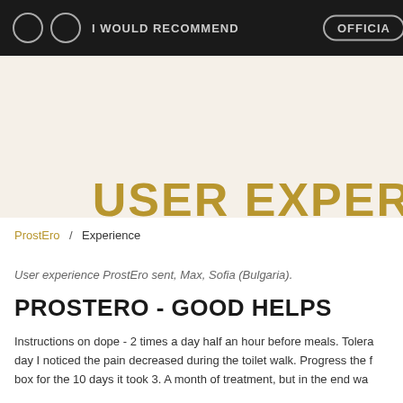I WOULD RECOMMEND   OFFICIA
USER EXPER
ProstEro / Experience
User experience ProstEro sent, Max, Sofia (Bulgaria).
PROSTERO - GOOD HELPS
Instructions on dope - 2 times a day half an hour before meals. Tolera day I noticed the pain decreased during the toilet walk. Progress the f box for the 10 days it took 3. A month of treatment, but in the end wa